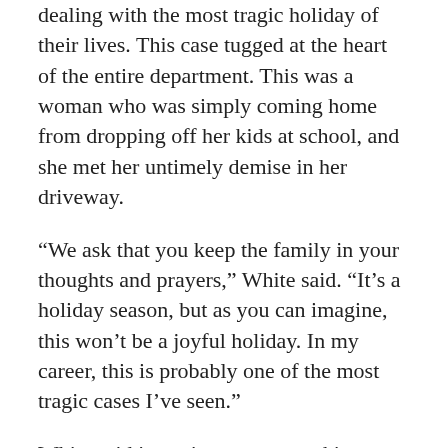dealing with the most tragic holiday of their lives. This case tugged at the heart of the entire department. This was a woman who was simply coming home from dropping off her kids at school, and she met her untimely demise in her driveway.
“We ask that you keep the family in your thoughts and prayers,” White said. “It’s a holiday season, but as you can imagine, this won’t be a joyful holiday. In my career, this is probably one of the most tragic cases I’ve seen.”
White said investigators are working tirelessly on the case.
White said the award highlights the